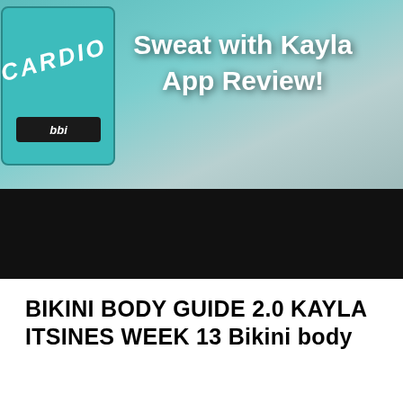[Figure (photo): Photo showing a teal/green fitness guide book labeled CARDIO with BBi branding, overlaid with white bold text reading 'Sweat with Kayla App Review!' on a light background. Below is a black banner strip.]
BIKINI BODY GUIDE 2.0 KAYLA ITSINES WEEK 13 Bikini body
bikini body workout jen coupon bikini body guide 2.0 pdf. Bikini Body Guide 2.0.pdf - Free download Ebook, Handbook, Textbook, User Guide PDF files on the internet quickly and easily., 20/1/2014В В· вЂЂThe Bikini Body